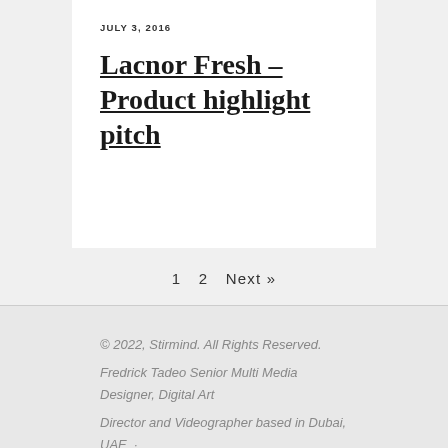JULY 3, 2016
Lacnor Fresh – Product highlight pitch
1  2  Next »
© 2022, Stirmind. All Rights Reserved.
Fredrick Tadeo Senior Multi Media Designer, Digital Art Director and Videographer based in Dubai, UAE · dtadeo@stirmind.com